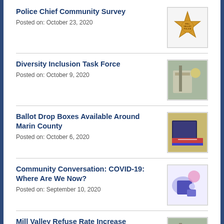Police Chief Community Survey
Posted on: October 23, 2020
Diversity Inclusion Task Force
Posted on: October 9, 2020
Ballot Drop Boxes Available Around Marin County
Posted on: October 6, 2020
Community Conversation: COVID-19: Where Are We Now?
Posted on: September 10, 2020
Mill Valley Refuse Rate Increase
Posted on: September 8, 2020
Virtual Town Hall & Community Forum: